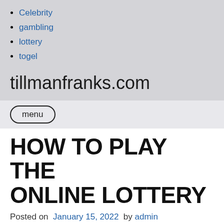Celebrity
gambling
lottery
togel
tillmanfranks.com
menu
HOW TO PLAY THE ONLINE LOTTERY
Posted on January 15, 2022 by admin
Many people think that playing the Online Lottery is like playing the lottery. The payouts are incredibly generous, but the odds of winning are incredible. Luckily, there are a few different ways to play the lottery. Most of the leading